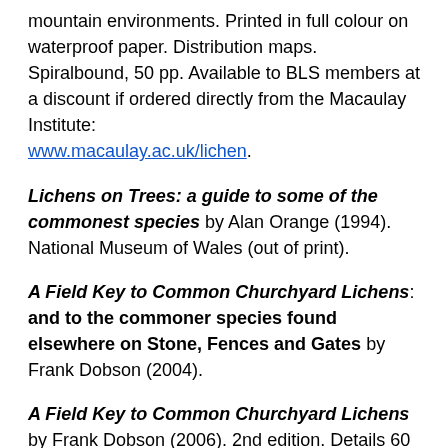mountain environments. Printed in full colour on waterproof paper. Distribution maps. Spiralbound, 50 pp. Available to BLS members at a discount if ordered directly from the Macaulay Institute: www.macaulay.ac.uk/lichen.
Lichens on Trees: a guide to some of the commonest species by Alan Orange (1994). National Museum of Wales (out of print).
A Field Key to Common Churchyard Lichens: and to the commoner species found elsewhere on Stone, Fences and Gates by Frank Dobson (2004).
A Field Key to Common Churchyard Lichens by Frank Dobson (2006). 2nd edition. Details 60 of the most common lichens, including species found on stone, fences, gates etc. The keys only use characters that are visible in the field, by eye, or under a x10 hand lens. Spiral binding, 38pp.